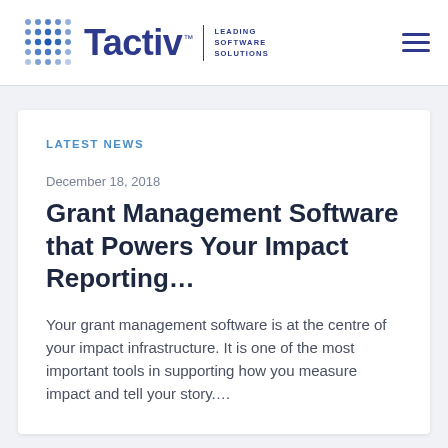[Figure (logo): Tactiv logo with dot grid icon, wordmark 'Tactiv™', vertical divider, and tagline 'LEADING SOFTWARE SOLUTIONS' in dark blue]
Tactiv™ | LEADING SOFTWARE SOLUTIONS
LATEST NEWS
December 18, 2018
Grant Management Software that Powers Your Impact Reporting…
Your grant management software is at the centre of your impact infrastructure. It is one of the most important tools in supporting how you measure impact and tell your story….